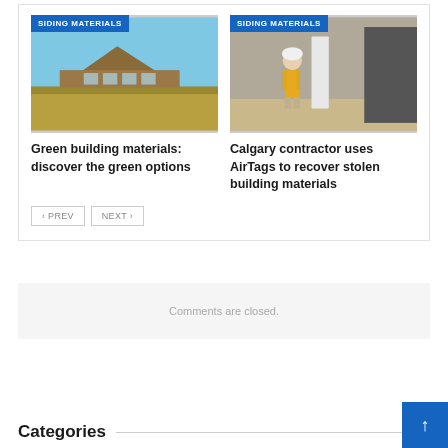[Figure (photo): Left card: Photo of a modern building with wood siding set in a grassy field under blue sky, with 'SIDING MATERIALS' badge]
Green building materials: discover the green options
[Figure (photo): Right card: Photo of a contractor in safety vest standing next to building materials at a construction site, with 'SIDING MATERIALS' badge]
Calgary contractor uses AirTags to recover stolen building materials
Comments are closed.
Categories